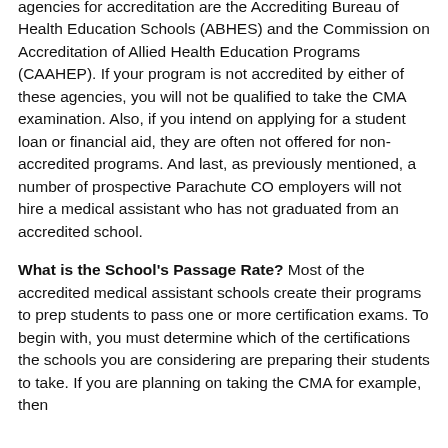agencies for accreditation are the Accrediting Bureau of Health Education Schools (ABHES) and the Commission on Accreditation of Allied Health Education Programs (CAAHEP). If your program is not accredited by either of these agencies, you will not be qualified to take the CMA examination. Also, if you intend on applying for a student loan or financial aid, they are often not offered for non-accredited programs. And last, as previously mentioned, a number of prospective Parachute CO employers will not hire a medical assistant who has not graduated from an accredited school.
What is the School's Passage Rate? Most of the accredited medical assistant schools create their programs to prep students to pass one or more certification exams. To begin with, you must determine which of the certifications the schools you are considering are preparing their students to take. If you are planning on taking the CMA for example, then